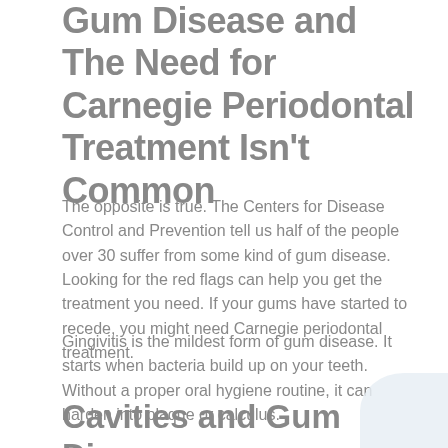Gum Disease and The Need for Carnegie Periodontal Treatment Isn't Common
The opposite is true. The Centers for Disease Control and Prevention tell us half of the people over 30 suffer from some kind of gum disease. Looking for the red flags can help you get the treatment you need. If your gums have started to recede, you might need Carnegie periodontal treatment.
Gingivitis is the mildest form of gum disease. It starts when bacteria build up on your teeth. Without a proper oral hygiene routine, it can harden into plaque or calculus.
Cavities and Gum Disease